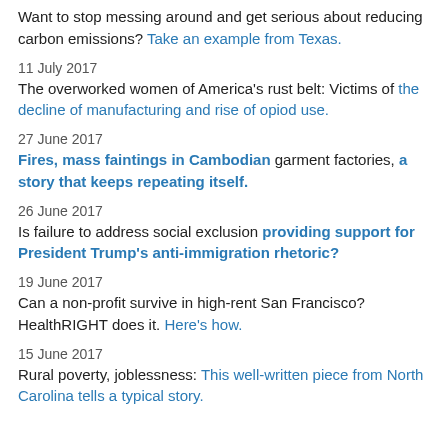Want to stop messing around and get serious about reducing carbon emissions? Take an example from Texas.
11 July 2017
The overworked women of America's rust belt: Victims of the decline of manufacturing and rise of opiod use.
27 June 2017
Fires, mass faintings in Cambodian garment factories, a story that keeps repeating itself.
26 June 2017
Is failure to address social exclusion providing support for President Trump's anti-immigration rhetoric?
19 June 2017
Can a non-profit survive in high-rent San Francisco? HealthRIGHT does it. Here's how.
15 June 2017
Rural poverty, joblessness: This well-written piece from North Carolina tells a typical story.